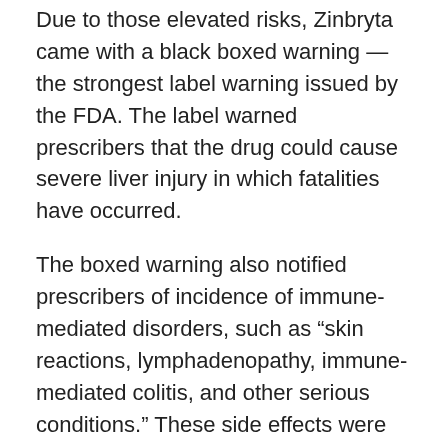Due to those elevated risks, Zinbryta came with a black boxed warning — the strongest label warning issued by the FDA. The label warned prescribers that the drug could cause severe liver injury in which fatalities have occurred.
The boxed warning also notified prescribers of incidence of immune-mediated disorders, such as “skin reactions, lymphadenopathy, immune-mediated colitis, and other serious conditions.” These side effects were observed in 5% of patients treated with Zinbryta.
Because of the risks of hepatic injury and immune-mediated disorders, Zinbryta was only available